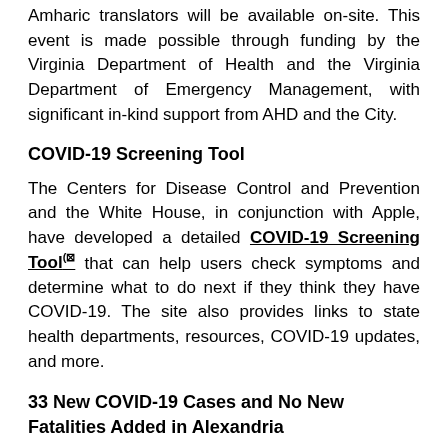Amharic translators will be available on-site. This event is made possible through funding by the Virginia Department of Health and the Virginia Department of Emergency Management, with significant in-kind support from AHD and the City.
COVID-19 Screening Tool
The Centers for Disease Control and Prevention and the White House, in conjunction with Apple, have developed a detailed COVID-19 Screening Tool that can help users check symptoms and determine what to do next if they think they have COVID-19. The site also provides links to state health departments, resources, COVID-19 updates, and more.
33 New COVID-19 Cases and No New Fatalities Added in Alexandria
The cumulative number of COVID-19 cases in